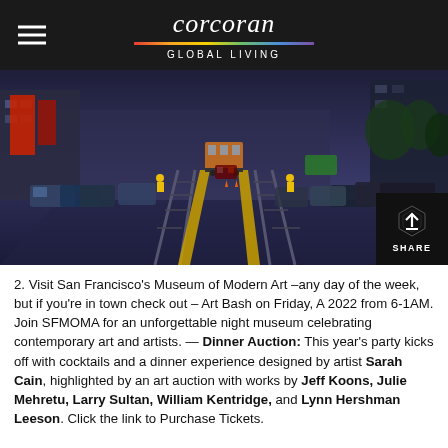corcoran GLOBAL LIVING
[Figure (photo): Street-level view of a San Francisco city street at dusk/evening, showing trolley/cable car tracks running down the center, yellow lane dividers, traffic, parked cars on both sides, and colorful building facades including red banners. Workers in yellow vests visible near the tracks.]
2. Visit San Francisco's Museum of Modern Art –any day of the week, but if you're in town check out – Art Bash on Friday, A 2022 from 6-1AM. Join SFMOMA for an unforgettable night museum celebrating contemporary art and artists. — Dinner Auction: This year's party kicks off with cocktails and a dinner experience designed by artist Sarah Cain, highlighted by an art auction with works by Jeff Koons, Julie Mehretu, Larry Sultan, William Kentridge, and Lynn Hershman Leeson. Click the link to Purchase Tickets.